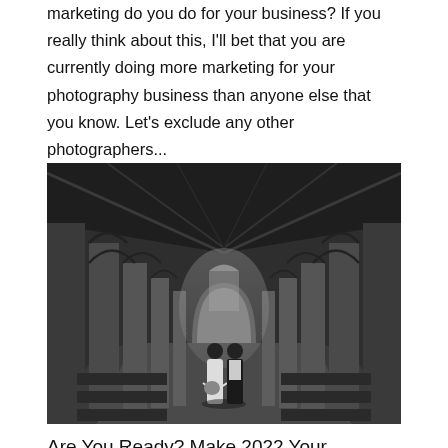marketing do you do for your business? If you really think about this, I'll bet that you are currently doing more marketing for your photography business than anyone else that you know. Let's exclude any other photographers...
[Figure (photo): Black and white photograph of a bride and groom standing in the aisle of a Gothic stone church with tall arched columns and vaulted ceiling]
Are You Ready? Make 2022 Your